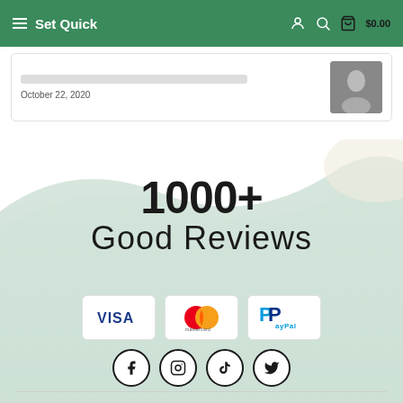Set Quick  $0.00
October 22, 2020
1000+
Good Reviews
[Figure (logo): Visa payment logo on white card]
[Figure (logo): Mastercard payment logo on white card]
[Figure (logo): PayPal payment logo on white card]
[Figure (infographic): Social media icons: Facebook, Instagram, TikTok, Twitter in circular borders]